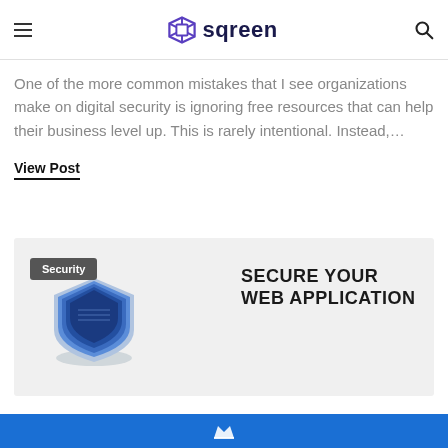sqreen
One of the more common mistakes that I see organizations make on digital security is ignoring free resources that can help their business level up. This is rarely intentional. Instead,…
View Post
[Figure (illustration): Card with light gray background showing a 3D layered blue shield icon on the left, a 'Security' dark tag in the top left corner, and bold uppercase text 'SECURE YOUR WEB APPLICATION' on the right]